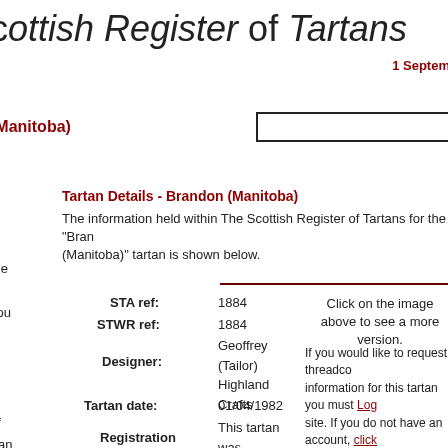cottish Register of Tartans
1 September
(Manitoba)
Tartan Details - Brandon (Manitoba)
The information held within The Scottish Register of Tartans for the "Brandon (Manitoba)" tartan is shown below.
STA ref: 1884
STWR ref: 1884
Designer: Geoffrey (Tailor) Highland Crafts
Tartan date: 01/04/1982
Registration: This tartan was recorded prior to the launch of
Click on the image above to see a more version.
If you would like to request threadcount information for this tartan you must Log in to the site. If you do not have an account, click here to create one.